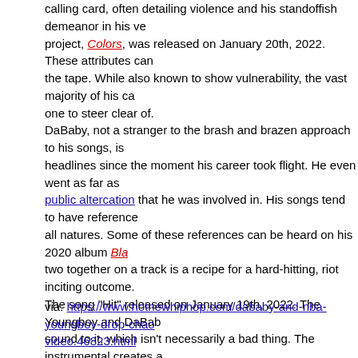calling card, often detailing violence and his standoffish demeanor in his ve... project, Colors, was released on January 20th, 2022. These attributes can... the tape. While also known to show vulnerability, the vast majority of his ca... one to steer clear of. DaBaby, not a stranger to the brash and brazen approach to his songs, is ... headlines since the moment his career took flight. He even went as far as ... public altercation that he was involved in. His songs tend to have reference... all natures. Some of these references can be heard on his 2020 album Bla... two together on a track is a recipe for a hard-hitting, riot inciting outcome. The song "Hit" released on January 19th, 2022. The Youngboy and DaBab... sound to it, which isn't necessarily a bad thing. The instrumental creates a... chaos, and the video follows suit. Shot in separate locations, DaBaby is se... while NBA Youngboy goes crazy with his crew. The guns in the video are t... that neither artist is someone to play with. How do you feel about the hectic video for NBA Youngboy and DaBaby's "... comments.
via: https://www.hotnewhiphop.com/dababy-and-nba-youngboy-drop-chao... video.46823.html